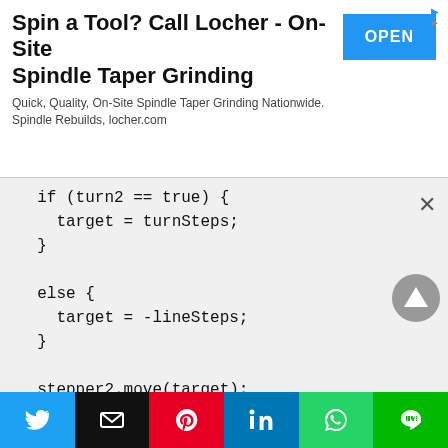[Figure (other): Advertisement banner: 'Spin a Tool? Call Locher - On-Site Spindle Taper Grinding' with an OPEN button]
if (turn2 == true) {
    target = turnSteps;
  }

  else {
    target = -lineSteps;
  }

  stepper2.move(target);
  stepper2.setSpeed(stepperSpeed);
  turn2 = !turn2;
}

steps1 = stepper1.distanceToGo();
[Figure (other): Social sharing bar with Twitter, Email, Pinterest, LinkedIn, WhatsApp, LINE buttons]